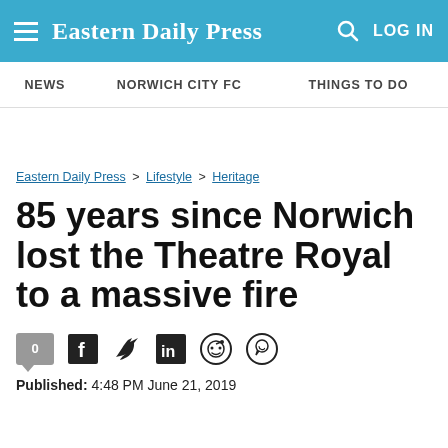Eastern Daily Press — LOG IN
NEWS   NORWICH CITY FC   THINGS TO DO
Eastern Daily Press > Lifestyle > Heritage
85 years since Norwich lost the Theatre Royal to a massive fire
Published: 4:48 PM June 21, 2019